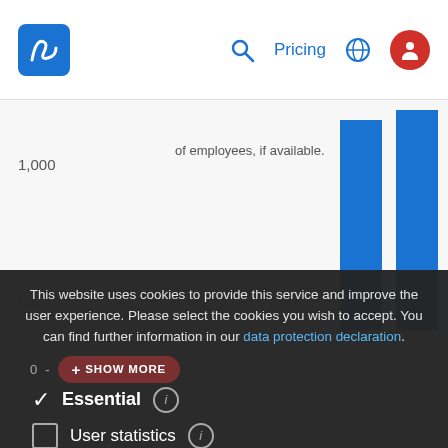Logo | Pricing | [search icon] [globe icon] [user icon]
[Figure (bar-chart): Employees chart]
This website uses cookies to provide this service and improve the user experience. Please select the cookies you wish to accept. You can find further information in our data protection declaration.
Essential
User statistics
Management
Third Party Tracking